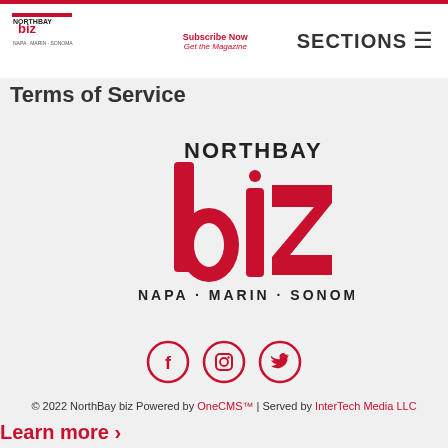NorthBay biz — Subscribe Now / Get the Magazine — SECTIONS
Terms of Service
[Figure (logo): NorthBay biz logo large — red 'biz' text with 'NORTHBAY' above and 'NAPA · MARIN · SONOMA' below]
[Figure (infographic): Social media icons: Facebook, Instagram, Twitter — red circle outlines]
© 2022 NorthBay biz Powered by OneCMS™ | Served by InterTech Media LLC
Learn more ›